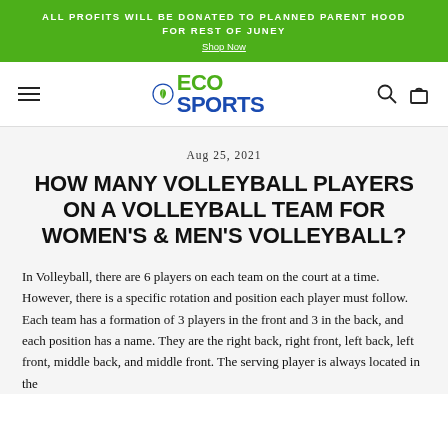ALL PROFITS WILL BE DONATED TO PLANNED PARENT HOOD FOR REST OF JUNEY
Shop Now
[Figure (logo): Eco Sports logo with green leaf circle, ECO in green and SPORTS in blue, hamburger menu icon left, search and cart icons right]
Aug 25, 2021
HOW MANY VOLLEYBALL PLAYERS ON A VOLLEYBALL TEAM FOR WOMEN'S & MEN'S VOLLEYBALL?
In Volleyball, there are 6 players on each team on the court at a time. However, there is a specific rotation and position each player must follow. Each team has a formation of 3 players in the front and 3 in the back, and each position has a name. They are the right back, right front, left back, left front, middle back, and middle front. The serving player is always located in the